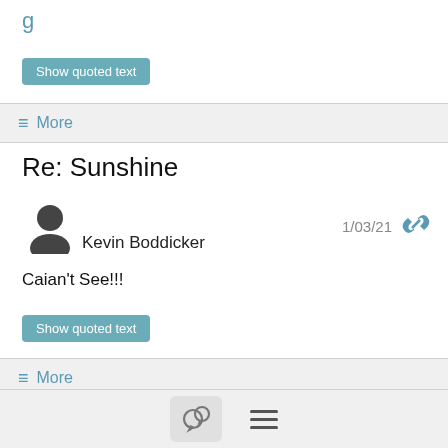g
Show quoted text
More
Re: Sunshine
Kevin Boddicker
1/03/21
Caian't See!!!
Show quoted text
More
Re: New years day flight video